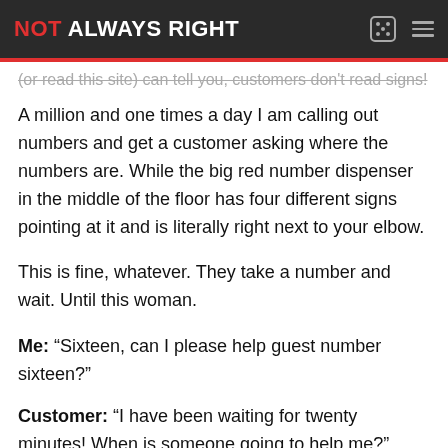NOT ALWAYS RIGHT
(or read this site) can tell you, customers don't read signs!
A million and one times a day I am calling out numbers and get a customer asking where the numbers are. While the big red number dispenser in the middle of the floor has four different signs pointing at it and is literally right next to your elbow.
This is fine, whatever. They take a number and wait. Until this woman.
Me: “Sixteen, can I please help guest number sixteen?”
Customer: “I have been waiting for twenty minutes! When is someone going to help me?”